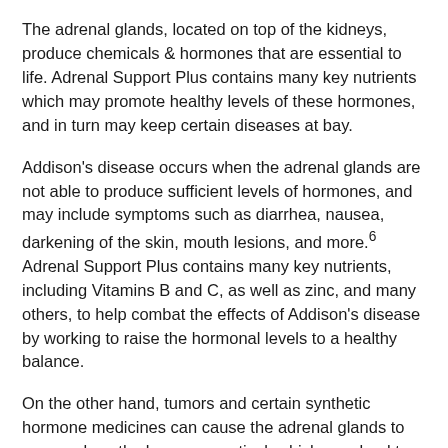The adrenal glands, located on top of the kidneys, produce chemicals & hormones that are essential to life. Adrenal Support Plus contains many key nutrients which may promote healthy levels of these hormones, and in turn may keep certain diseases at bay.
Addison's disease occurs when the adrenal glands are not able to produce sufficient levels of hormones, and may include symptoms such as diarrhea, nausea, darkening of the skin, mouth lesions, and more.6 Adrenal Support Plus contains many key nutrients, including Vitamins B and C, as well as zinc, and many others, to help combat the effects of Addison's disease by working to raise the hormonal levels to a healthy balance.
On the other hand, tumors and certain synthetic hormone medicines can cause the adrenal glands to overproduce the hormone cortisol, which may lead to Cushing's syndrome. Cushing's syndrome can cause obesity in the upper body, thin arms and legs, severe fatigue, and easy bruising. BioGenesis Adrenal Support Plus helps to support healthy levels of cortisol and other hormones, which may help to prevent Cushing's syndrome.7
BioGenesis Adrenal Support Plus may also be beneficial in